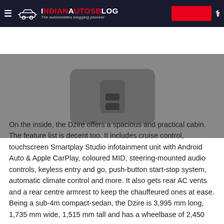IndianAutosBlog — The automobiles blogging pioneer
[Figure (screenshot): Video thumbnail showing a close-up of a car interior control knob, dark grey background, with a play button overlay indicating a video player.]
On the inside, the Dzire offers a spacious and practical cabin. The feature list is decent too. It includes cruise control, touchscreen Smartplay Studio infotainment unit with Android Auto & Apple CarPlay, coloured MID, steering-mounted audio controls, keyless entry and go, push-button start-stop system, automatic climate control and more. It also gets rear AC vents and a rear centre armrest to keep the chauffeured ones at ease. Being a sub-4m compact-sedan, the Dzire is 3,995 mm long, 1,735 mm wide, 1,515 mm tall and has a wheelbase of 2,450 mm.